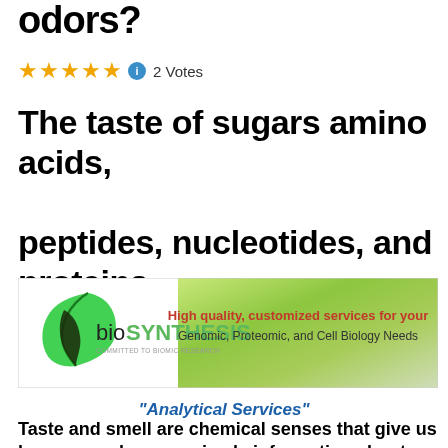odors?
★★★★★ ⓘ 2 Votes
The taste of sugars amino acids, peptides, nucleotides, and proteins
[Figure (advertisement): Bio Synthesis advertisement banner with logo and text: High quality, customized services for your Genomic, Proteomic, and Cell Biology Needs]
“Analytical Services”
Taste and smell are chemical senses that give us humans and many animals information about the